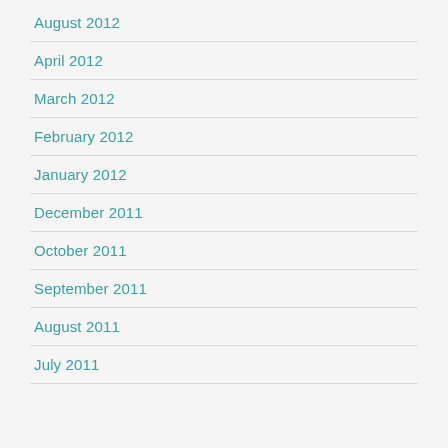August 2012
April 2012
March 2012
February 2012
January 2012
December 2011
October 2011
September 2011
August 2011
July 2011